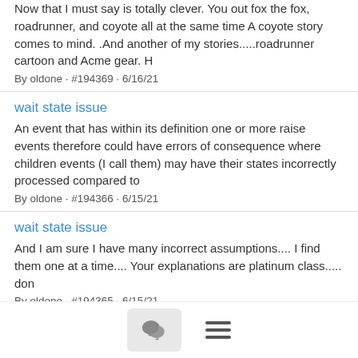Now that I must say is totally clever. You out fox the fox, roadrunner, and coyote all at the same time A coyote story comes to mind. .And another of my stories.....roadrunner cartoon and Acme gear. H
By oldone · #194369 · 6/16/21
wait state issue
An event that has within its definition one or more raise events therefore could have errors of consequence where children events (I call them) may have their states incorrectly processed compared to
By oldone · #194366 · 6/15/21
wait state issue
And I am sure I have many incorrect assumptions.... I find them one at a time.... Your explanations are platinum class..... don
By oldone · #194365 · 6/15/21
wait state issue
tried all permutations of yes/no wait on A B C 2 x 2 x 2 = 8